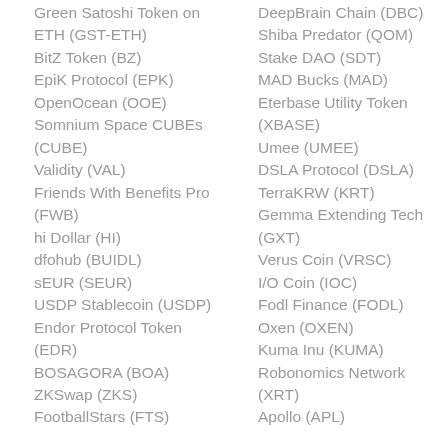Green Satoshi Token on ETH (GST-ETH)
BitZ Token (BZ)
EpiK Protocol (EPK)
OpenOcean (OOE)
Somnium Space CUBEs (CUBE)
Validity (VAL)
Friends With Benefits Pro (FWB)
hi Dollar (HI)
dfohub (BUIDL)
sEUR (SEUR)
USDP Stablecoin (USDP)
Endor Protocol Token (EDR)
BOSAGORA (BOA)
ZKSwap (ZKS)
FootballStars (FTS)
DeepBrain Chain (DBC)
Shiba Predator (QOM)
Stake DAO (SDT)
MAD Bucks (MAD)
Eterbase Utility Token (XBASE)
Umee (UMEE)
DSLA Protocol (DSLA)
TerraKRW (KRT)
Gemma Extending Tech (GXT)
Verus Coin (VRSC)
I/O Coin (IOC)
Fodl Finance (FODL)
Oxen (OXEN)
Kuma Inu (KUMA)
Robonomics Network (XRT)
Apollo (APL)